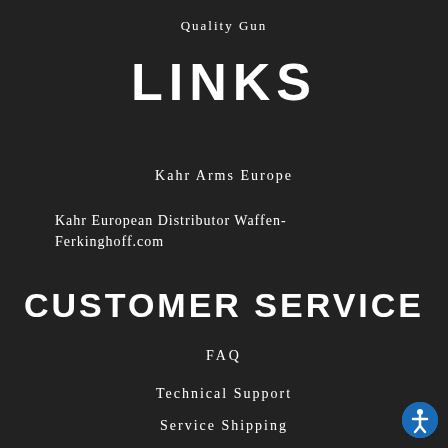Quality Gun
LINKS
Kahr Arms Europe
Kahr European Distributor Waffen-Ferkinghoff.com
CUSTOMER SERVICE
FAQ
Technical Support
Service Shipping